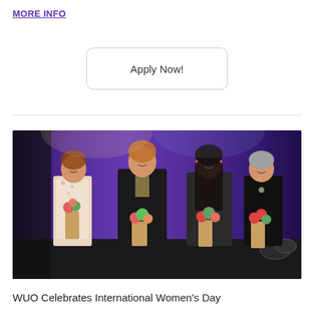MORE INFO
Apply Now!
[Figure (photo): Four women standing on a stage holding bouquets of flowers, smiling, with a purple curtain backdrop and stage lighting equipment visible.]
WUO Celebrates International Women's Day